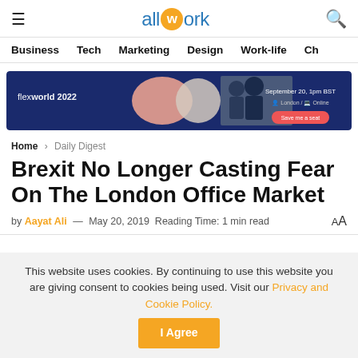allwork
Business  Tech  Marketing  Design  Work-life  Ch
[Figure (infographic): Flexworld 2022 advertisement banner — dark navy background with pink and beige geometric shapes, photo of people, text 'September 20, 1pm BST London / Online' and orange 'Save me a seat' button]
Home > Daily Digest
Brexit No Longer Casting Fear On The London Office Market
by Aayat Ali — May 20, 2019  Reading Time: 1 min read
This website uses cookies. By continuing to use this website you are giving consent to cookies being used. Visit our Privacy and Cookie Policy.